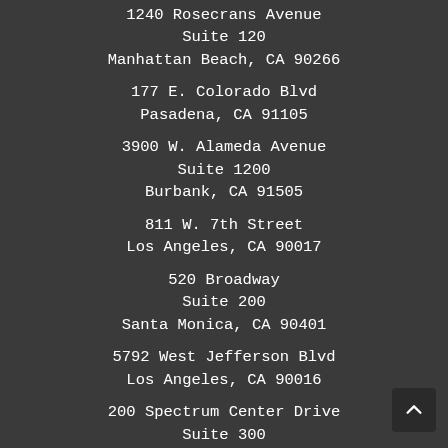1240 Rosecrans Avenue
Suite 120
Manhattan Beach, CA 90266
177 E. Colorado Blvd
Pasadena, CA 91105
3900 W. Alameda Avenue
Suite 1200
Burbank, CA 91505
811 W. 7th Street
Los Angeles, CA 90017
520 Broadway
Suite 200
Santa Monica, CA 90401
5792 West Jefferson Blvd
Los Angeles, CA 90016
200 Spectrum Center Drive
Suite 300